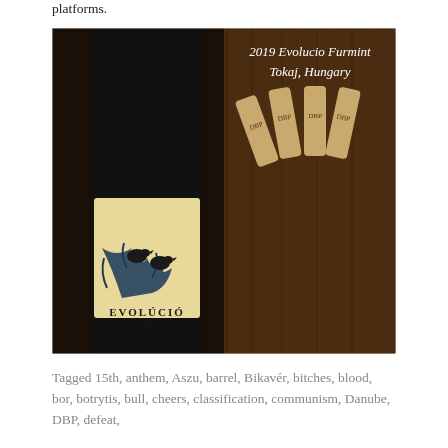platforms.
[Figure (photo): Wine bottle of Evolúció Furmint with label showing birds on a tree branch, alongside text reading '2019 Evolucio Furmint Tokaj, Hungary' and wine corks branded 'DBP'. A tasting note describes the wine as refreshing and golden in color, with crisp fruit flavors like meyer lemon and green apple, hints of dried apricot and ginger, high in acidity, pairing well with spicy foods or seafood.]
Tagged 15th, anthem, Aszu, barrel, Bikavér, bitches, blood, bor, botrytis, bull, cheers, classification, communism, Danube, DBP, defeat,